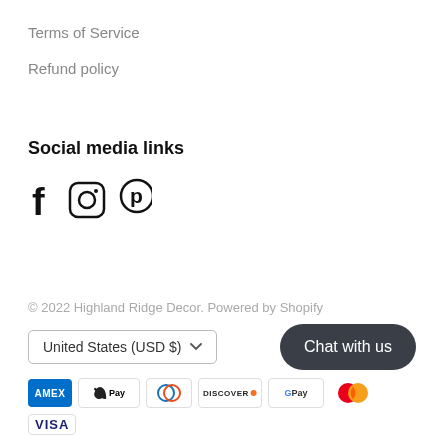Terms of Service
Refund policy
Social media links
[Figure (illustration): Three social media icons: Facebook (f), Instagram (camera circle), Pinterest (P circle)]
© 2022 Highland Ridge Decor. Powered by Shopify
United States (USD $)
[Figure (illustration): Payment method icons: American Express, Apple Pay, Diners Club, Discover, Google Pay, Mastercard, Visa]
Chat with us